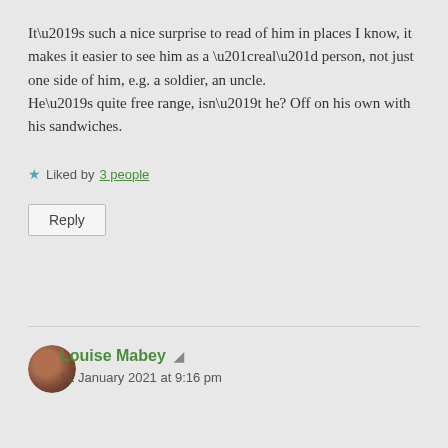It’s such a nice surprise to read of him in places I know, it makes it easier to see him as a “real” person, not just one side of him, e.g. a soldier, an uncle.
He’s quite free range, isn’t he? Off on his own with his sandwiches.
★ Liked by 3 people
Reply
Louise Mabey
11 January 2021 at 9:16 pm